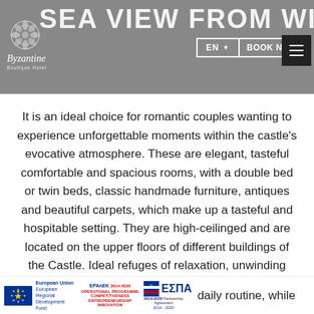SEA VIEW FROM WINDOW
[Figure (logo): Byzantine Boutique Hotel logo with decorative emblem, italic script name and subtitle]
It is an ideal choice for romantic couples wanting to experience unforgettable moments within the castle's evocative atmosphere. These are elegant, tasteful comfortable and spacious rooms, with a double bed or twin beds, classic handmade furniture, antiques and beautiful carpets, which make up a tasteful and hospitable setting. They are high-ceilinged and are located on the upper floors of different buildings of the Castle. Ideal refuges of relaxation, unwinding and calm, they are the perfect ... daily routine, while
[Figure (logo): European Union European Regional Development Fund logo, EPAnEK 2014-2020 Operational Programme Competitiveness Entrepreneurship Innovation logo, ΕΣΠΑ 2014-2020 Partnership Agreement logo]